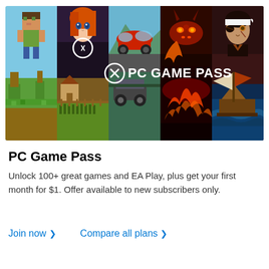[Figure (illustration): PC Game Pass promotional banner showing five vertical panels with game artwork: Minecraft character, anime RPG girl with farm scene, Forza racing car, dragon game scene, and pirate game scene. Xbox logo and 'PC GAME PASS' text overlay the center.]
PC Game Pass
Unlock 100+ great games and EA Play, plus get your first month for $1. Offer available to new subscribers only.
Join now > Compare all plans >